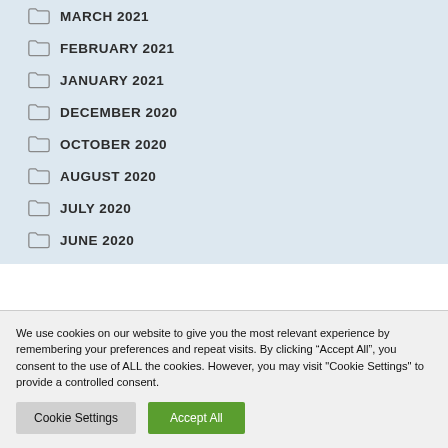MARCH 2021
FEBRUARY 2021
JANUARY 2021
DECEMBER 2020
OCTOBER 2020
AUGUST 2020
JULY 2020
JUNE 2020
We use cookies on our website to give you the most relevant experience by remembering your preferences and repeat visits. By clicking “Accept All”, you consent to the use of ALL the cookies. However, you may visit "Cookie Settings" to provide a controlled consent.
Cookie Settings | Accept All